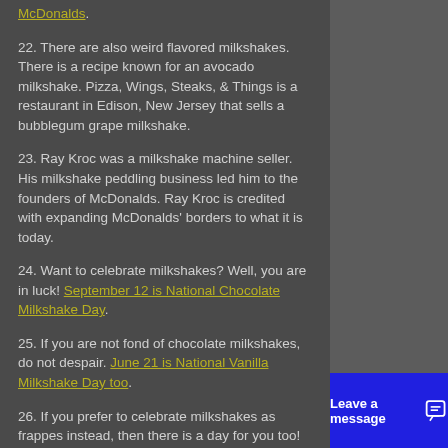McDonalds.
22. There are also weird flavored milkshakes. There is a recipe known for an avocado milkshake. Pizza, Wings, Steaks, & Things is a restaurant in Edison, New Jersey that sells a bubblegum grape milkshake.
23. Ray Kroc was a milkshake machine seller. His milkshake peddling business led him to the founders of McDonalds. Ray Kroc is credited with expanding McDonalds' borders to what it is today.
24. Want to celebrate milkshakes? Well, you are in luck! September 12 is National Chocolate Milkshake Day.
25. If you are not fond of chocolate milkshakes, do not despair. June 21 is National Vanilla Milkshake Day too.
26. If you prefer to celebrate milkshakes as frappes instead, then there is a day for you too! October 7 is recognized as National Frappe Day.
Whether you call it a milkshake, frappe, or cabinet, grab a straw and sip away. Milks... source of dairy. They are also a...